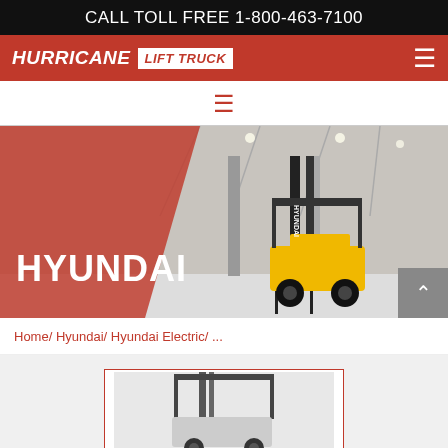CALL TOLL FREE 1-800-463-7100
[Figure (logo): Hurricane Lift Truck logo on orange/red background with hamburger menu icon]
[Figure (other): Hamburger menu bars icon in orange/red color]
[Figure (photo): Hero banner with HYUNDAI text over orange-red tinted warehouse background on left and Hyundai forklift on right in a warehouse setting]
Home/ Hyundai/ Hyundai Electric/ ...
[Figure (photo): Partial view of a forklift product image inside a white box with red border]